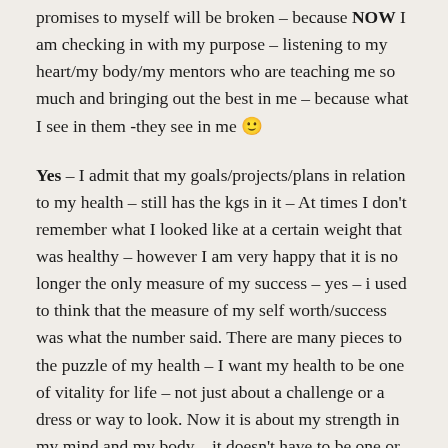promises to myself will be broken – because NOW I am checking in with my purpose – listening to my heart/my body/my mentors who are teaching me so much and bringing out the best in me – because what I see in them -they see in me 🙂
Yes – I admit that my goals/projects/plans in relation to my health – still has the kgs in it – At times I don't remember what I looked like at a certain weight that was healthy – however I am very happy that it is no longer the only measure of my success – yes – i used to think that the measure of my self worth/success was what the number said. There are many pieces to the puzzle of my health – I want my health to be one of vitality for life – not just about a challenge or a dress or way to look. Now it is about my strength in my mind and my body – it doesn't have to be one or the other – it can be both. The difference is now, this time, the goal is not the end product – it